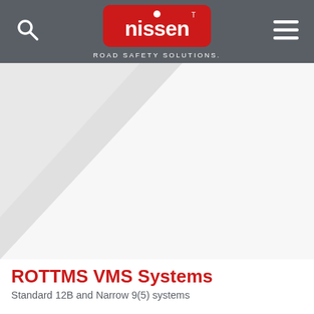[Figure (logo): Nissen Road Safety Solutions logo — white 'nissen' text with a white circle dot above the 'i' on a red rounded rectangle background, with trademark symbol. Tagline 'ROAD SAFETY SOLUTIONS.' in white below, on a dark grey header bar with search icon (left) and hamburger menu icon (right).]
[Figure (illustration): Hero area with a light grey background featuring a large diagonal white/light triangle shape pointing from lower-left to upper-right.]
ROTTMS VMS Systems
Standard 12B and Narrow 9(5) systems